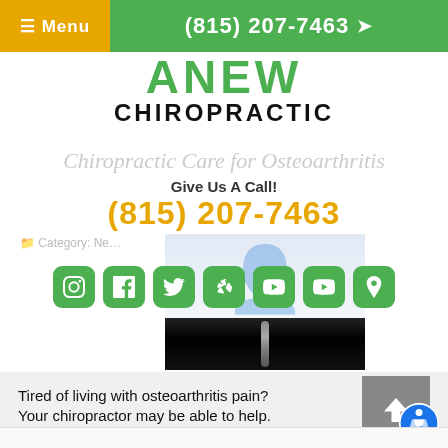≡ Menu  (815) 207-7463
ANEW CHIROPRACTIC
Chiropractic Care for Osteoarthritis
Give Us A Call!
(815) 207-7463
Category: Ne…
[Figure (screenshot): Row of social media icons: Instagram, Facebook, Twitter, Yelp, YouTube, YouTube, Map/Location — all green rounded square buttons]
[Figure (photo): X-ray image of spine/joint, partially visible, dark background]
Tired of living with osteoarthritis pain? Your chiropractor may be able to help.
READ MORE
[Figure (illustration): Accessibility icon — blue circle with wheelchair user symbol]